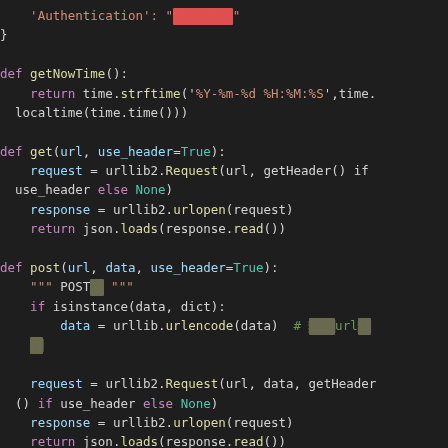[Figure (screenshot): Python source code screenshot on dark background showing functions: getNowTime(), get(), post(), and beginning of getArea(). Code uses syntax highlighting with pink/yellow/cyan/white colors.]